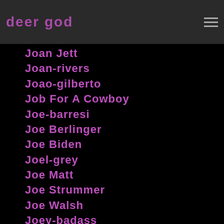deer god
Joan Jett
Joan-rivers
Joao-gilberto
Job For A Cowboy
Joe-barresi
Joe Berlinger
Joe Biden
Joel-grey
Joe Matt
Joe Strummer
Joe Walsh
Joey-badass
Joey Ramone
Johanna Fateman
John Cale
John-candy
John Cleese